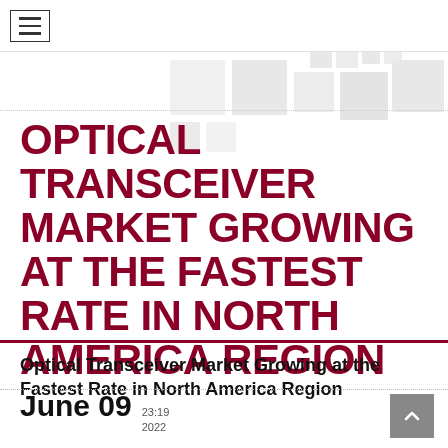≡
OPTICAL TRANSCEIVER MARKET GROWING AT THE FASTEST RATE IN NORTH AMERICA REGION
Optical Transceiver Market Growing at the Fastest Rate in North America Region
June 09  23:19  2022